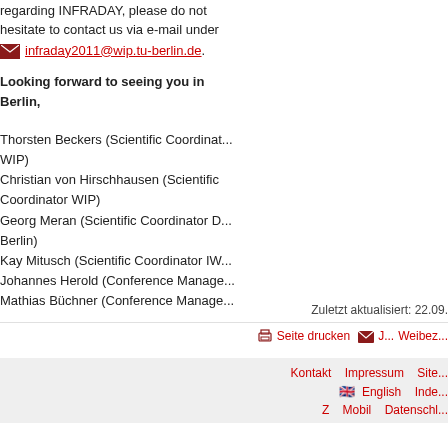regarding INFRADAY, please do not hesitate to contact us via e-mail under infraday2011@wip.tu-berlin.de.
Looking forward to seeing you in Berlin,
Thorsten Beckers (Scientific Coordinator WIP)
Christian von Hirschhausen (Scientific Coordinator WIP)
Georg Meran (Scientific Coordinator D Berlin)
Kay Mitusch (Scientific Coordinator IW...
Johannes Herold (Conference Manager...)
Mathias Büchner (Conference Manager...)
Zuletzt aktualisiert: 22.09...
Seite drucken | J... Weibez... | Kontakt Impressum Site... | English Inde... Z Mobil Datenschl...